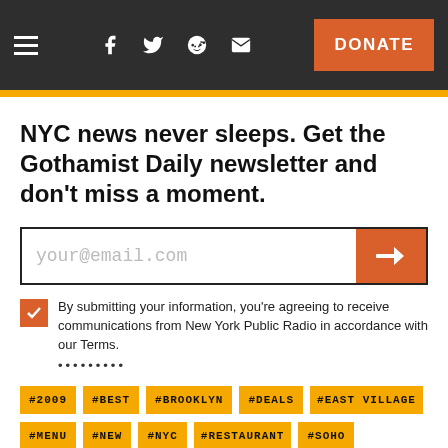Menu | Facebook | Twitter | Reddit | Email | DONATE
NYC news never sleeps. Get the Gothamist Daily newsletter and don't miss a moment.
your@email.com
By submitting your information, you're agreeing to receive communications from New York Public Radio in accordance with our Terms.
#2009
#BEST
#BROOKLYN
#DEALS
#EAST VILLAGE
#MENU
#NEW
#NYC
#RESTAURANT
#SOHO
#VALENTINE'S DAY
#WEST VILLAGE
#WHERE